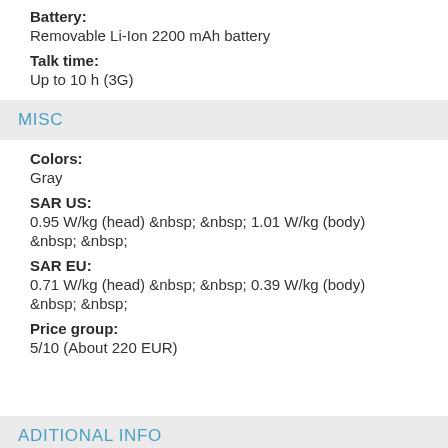Battery:
Removable Li-Ion 2200 mAh battery
Talk time:
Up to 10 h (3G)
MISC
Colors:
Gray
SAR US:
0.95 W/kg (head) &nbsp; &nbsp; 1.01 W/kg (body)
&nbsp; &nbsp;
SAR EU:
0.71 W/kg (head) &nbsp; &nbsp; 0.39 W/kg (body)
&nbsp; &nbsp;
Price group:
5/10 (About 220 EUR)
ADITIONAL INFO